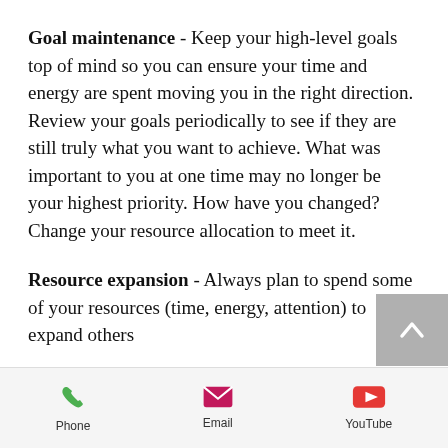Goal maintenance - Keep your high-level goals top of mind so you can ensure your time and energy are spent moving you in the right direction. Review your goals periodically to see if they are still truly what you want to achieve. What was important to you at one time may no longer be your highest priority. How have you changed? Change your resource allocation to meet it.
Resource expansion - Always plan to spend some of your resources (time, energy, attention) to expand others
[Figure (other): Gray scroll-to-top button with upward chevron arrow]
Phone   Email   YouTube